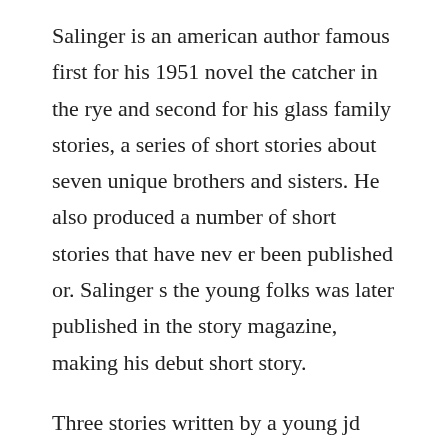Salinger is an american author famous first for his 1951 novel the catcher in the rye and second for his glass family stories, a series of short stories about seven unique brothers and sisters. He also produced a number of short stories that have nev er been published or. Salinger s the young folks was later published in the story magazine, making his debut short story.
Three stories written by a young jd salinger in the 1940s have gone on sale to the public. About eleven oclock, lucille henderson,